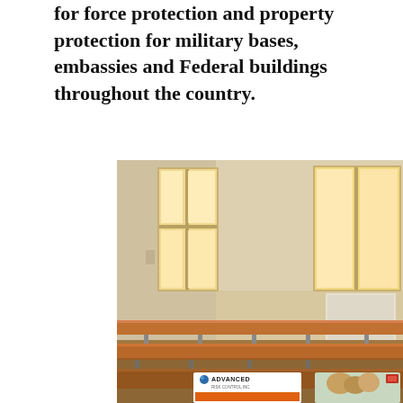for force protection and property protection for military bases, embassies and Federal buildings throughout the country.
[Figure (photo): Interior photo of an empty classroom with rows of wooden desks and chairs, tall windows letting in warm light from the back wall, and two smaller brochure/catalog images overlapping at the bottom — one from 'Advanced' company with an orange cover, and one showing children.]